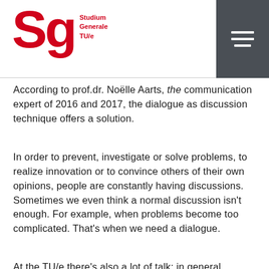Studium Generale TU/e
According to prof.dr. Noëlle Aarts, the communication expert of 2016 and 2017, the dialogue as discussion technique offers a solution.
In order to prevent, investigate or solve problems, to realize innovation or to convince others of their own opinions, people are constantly having discussions. Sometimes we even think a normal discussion isn't enough. For example, when problems become too complicated. That's when we need a dialogue.
At the TU/e there's also a lot of talk; in general